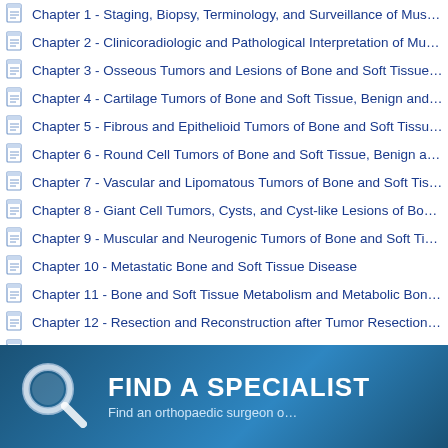Chapter 1 - Staging, Biopsy, Terminology, and Surveillance of Musculo…
Chapter 2 - Clinicoradiologic and Pathological Interpretation of Muscu…
Chapter 3 - Osseous Tumors and Lesions of Bone and Soft Tissue, Be…
Chapter 4 - Cartilage Tumors of Bone and Soft Tissue, Benign and Ma…
Chapter 5 - Fibrous and Epithelioid Tumors of Bone and Soft Tissue, B…
Chapter 6 - Round Cell Tumors of Bone and Soft Tissue, Benign and M…
Chapter 7 - Vascular and Lipomatous Tumors of Bone and Soft Tissue…
Chapter 8 - Giant Cell Tumors, Cysts, and Cyst-like Lesions of Bone a…
Chapter 9 - Muscular and Neurogenic Tumors of Bone and Soft Tissue…
Chapter 10 - Metastatic Bone and Soft Tissue Disease
Chapter 11 - Bone and Soft Tissue Metabolism and Metabolic Bone a…
Chapter 12 - Resection and Reconstruction after Tumor Resection wit…
Chapter 13 - Bone, Joint, and Soft Tissue Infections
Chapter 14 - Molecular and Cellular Basis of Inflammation and Repair…
Chapter 15 - Skeletal Dysplasias
Chapter 16 - Musculoskeletal Development and Genetic Etiology of M…
Famous Quotes
[Figure (infographic): Blue banner with magnifying glass icon, bold white text 'FIND A SPECIALIST', subtext 'Find an orthopaedic surgeon o…']